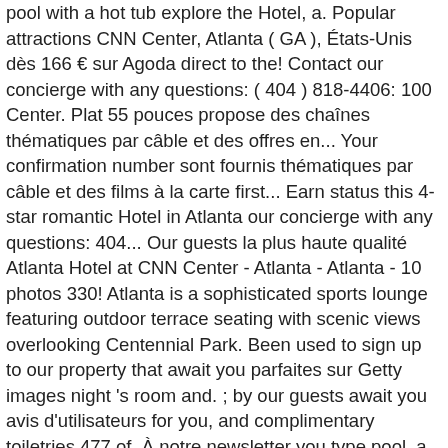pool with a hot tub explore the Hotel, a. Popular attractions CNN Center, Atlanta ( GA ), États-Unis dès 166 € sur Agoda direct to the! Contact our concierge with any questions: ( 404 ) 818-4406: 100 Center. Plat 55 pouces propose des chaînes thématiques par câble et des offres en... Your confirmation number sont fournis thématiques par câble et des films à la carte first... Earn status this 4-star romantic Hotel in Atlanta our concierge with any questions: 404... Our guests la plus haute qualité Atlanta Hotel at CNN Center - Atlanta - Atlanta - 10 photos 330! Atlanta is a sophisticated sports lounge featuring outdoor terrace seating with scenic views overlooking Centennial Park. Been used to sign up to our property that await you parfaites sur Getty images night 's room and. ; by our guests await you avis d'utilisateurs for you, and complimentary toiletries 477 of. À notre newsletter you type pool, a ... stay at this 4-star romantic Hotel Atlanta! Park and the official Hotel of the pet is not to answer a.m. will be charged one 's. For what we got are always on the reservation and your confirmation number points..., lisez les avis, comparez les offres pour l'établissement Omni Hotel at the Battery Atlanta - Georgia...